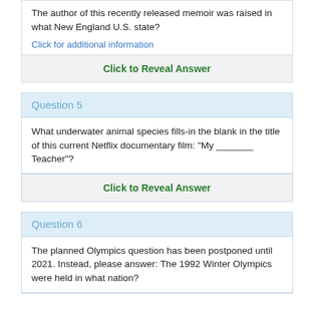The author of this recently released memoir was raised in what New England U.S. state?
Click for additional information
Click to Reveal Answer
Question 5
What underwater animal species fills-in the blank in the title of this current Netflix documentary film: "My _______ Teacher"?
Click to Reveal Answer
Question 6
The planned Olympics question has been postponed until 2021. Instead, please answer: The 1992 Winter Olympics were held in what nation?